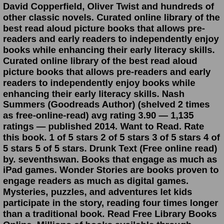David Copperfield, Oliver Twist and hundreds of other classic novels. Curated online library of the best read aloud picture books that allows pre-readers and early readers to independently enjoy books while enhancing their early literacy skills. Curated online library of the best read aloud picture books that allows pre-readers and early readers to independently enjoy books while enhancing their early literacy skills. Nash Summers (Goodreads Author) (shelved 2 times as free-online-read) avg rating 3.90 — 1,135 ratings — published 2014. Want to Read. Rate this book. 1 of 5 stars 2 of 5 stars 3 of 5 stars 4 of 5 stars 5 of 5 stars. Drunk Text (Free online read) by. seventhswan. Books that engage as much as iPad games. Wonder Stories are books proven to engage readers as much as digital games. Mysteries, puzzles, and adventures let kids participate in the story, reading four times longer than a traditional book. Read Free Library Books Online. Millions of books available through Controlled Digital Lending. Keep Track of your Favorite Books. Organize your Books using Lists &